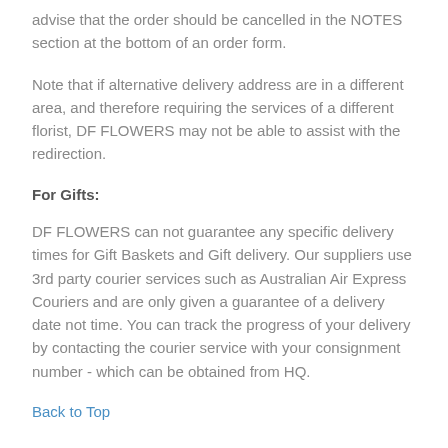advise that the order should be cancelled in the NOTES section at the bottom of an order form.
Note that if alternative delivery address are in a different area, and therefore requiring the services of a different florist, DF FLOWERS may not be able to assist with the redirection.
For Gifts:
DF FLOWERS can not guarantee any specific delivery times for Gift Baskets and Gift delivery. Our suppliers use 3rd party courier services such as Australian Air Express Couriers and are only given a guarantee of a delivery date not time. You can track the progress of your delivery by contacting the courier service with your consignment number - which can be obtained from HQ.
Back to Top